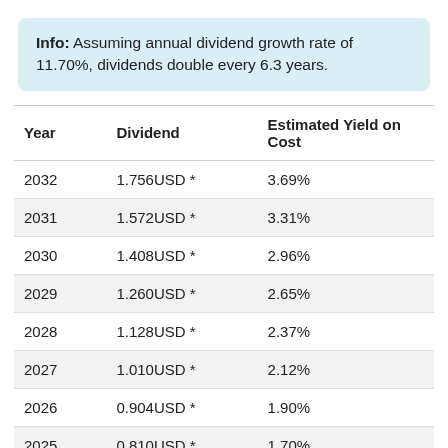Info: Assuming annual dividend growth rate of 11.70%, dividends double every 6.3 years.
| Year | Dividend | Estimated Yield on Cost |
| --- | --- | --- |
| 2032 | 1.756USD * | 3.69% |
| 2031 | 1.572USD * | 3.31% |
| 2030 | 1.408USD * | 2.96% |
| 2029 | 1.260USD * | 2.65% |
| 2028 | 1.128USD * | 2.37% |
| 2027 | 1.010USD * | 2.12% |
| 2026 | 0.904USD * | 1.90% |
| 2025 | 0.810USD * | 1.70% |
| 2024 | 0.725USD * | 1.52% |